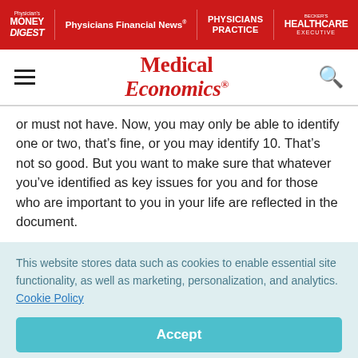Physician's Money Digest | Physicians Financial News | PHYSICIANS PRACTICE | HEALTHCARE EXECUTIVE
[Figure (logo): Medical Economics logo in red serif italic font]
or must not have. Now, you may only be able to identify one or two, that's fine, or you may identify 10. That's not so good. But you want to make sure that whatever you've identified as key issues for you and for those who are important to you in your life are reflected in the document.
This website stores data such as cookies to enable essential site functionality, as well as marketing, personalization, and analytics. Cookie Policy
Accept
Deny